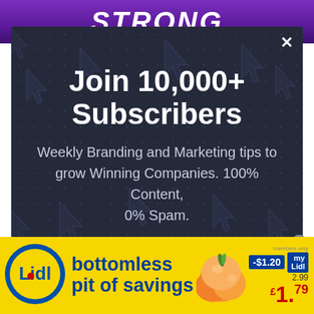[Figure (screenshot): Purple banner at top with bold white text 'STRONG' (partial headline cut off)]
[Figure (screenshot): Dark navy subscription modal popup with cursor/arrow icons decorating the background. Contains title 'Join 10,000+ Subscribers' and subtitle text. Has an X close button.]
Join 10,000+ Subscribers
Weekly Branding and Marketing tips to grow Winning Companies. 100% Content, 0% Spam.
[Figure (screenshot): Lidl advertisement banner at the bottom. Yellow background with Lidl logo on the left, blue text 'bottomless pit of savings', peaches photo in center, price tag showing members only -$1.20, regular price 2.99, sale price $1.79]